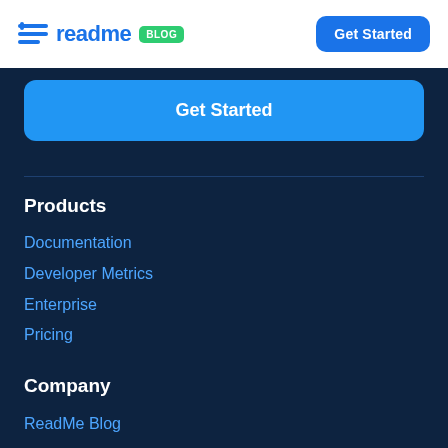readme BLOG | Get Started
Get Started
Products
Documentation
Developer Metrics
Enterprise
Pricing
Company
ReadMe Blog